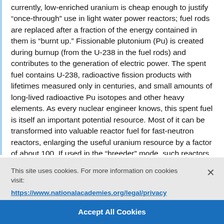currently, low-enriched uranium is cheap enough to justify “once-through” use in light water power reactors; fuel rods are replaced after a fraction of the energy contained in them is “burnt up.” Fissionable plutonium (Pu) is created during burnup (from the U-238 in the fuel rods) and contributes to the generation of electric power. The spent fuel contains U-238, radioactive fission products with lifetimes measured only in centuries, and small amounts of long-lived radioactive Pu isotopes and other heavy elements. As every nuclear engineer knows, this spent fuel is itself an important potential resource. Most of it can be transformed into valuable reactor fuel for fast-neutron reactors, enlarging the useful uranium resource by a factor of about 100. If used in the “breeder” mode, such reactors can make uranium resources truly inexhaustible.
This site uses cookies. For more information on cookies visit: https://www.nationalacademies.org/legal/privacy